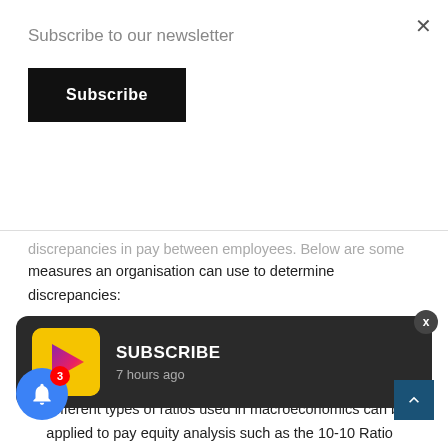Subscribe to our newsletter
Subscribe
discrepancies in pay between employees. Below are some measures an organisation can use to determine discrepancies:
The wage gap and the calculation provide the organisation with the ratio of how many times higher the CEO's pay is from the median employee pay.
Different types of ratios used in macroeconomics can be applied to pay equity analysis such as the 10-10 Ratio (the sum of the highest 10% of employees pay divided by the sum of the lowest 10% of employees pay), the Palma ratio (the sum of the highest 4% of employees pay divided by the sum of the lowest 5% employees pay), Palma ratio (the
[Figure (screenshot): Push notification showing SUBSCRIBE with icon and timestamp '7 hours ago']